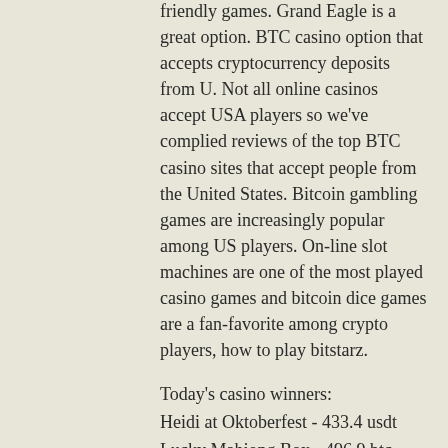friendly games. Grand Eagle is a great option. BTC casino option that accepts cryptocurrency deposits from U. Not all online casinos accept USA players so we've complied reviews of the top BTC casino sites that accept people from the United States. Bitcoin gambling games are increasingly popular among US players. On-line slot machines are one of the most played casino games and bitcoin dice games are a fan-favorite among crypto players, how to play bitstarz.
Today's casino winners:
Heidi at Oktoberfest - 433.4 usdt
Lucky Mahjong Box - 496.9 btc
Tootin Car Man - 234 btc
Hall of Gods - 569.3 usdt
Booming Bananas - 388.5 bch
Gemstone of Aztec - 10.2 usdt
Jack's Beanstalk - 563.5 bch
Duck Shooter - 629.7 eth